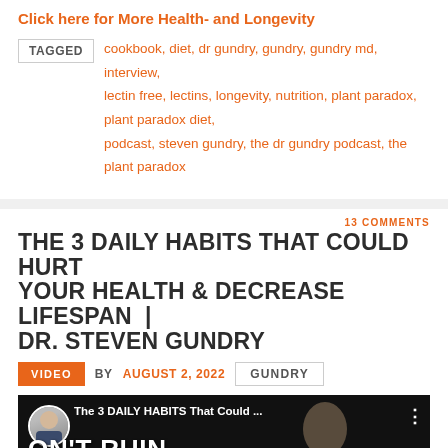Click here for More Health- and Longevity
TAGGED cookbook, diet, dr gundry, gundry, gundry md, interview, lectin free, lectins, longevity, nutrition, plant paradox, plant paradox diet, podcast, steven gundry, the dr gundry podcast, the plant paradox
13 COMMENTS
THE 3 DAILY HABITS THAT COULD HURT YOUR HEALTH & DECREASE LIFESPAN | DR. STEVEN GUNDRY
VIDEO BY AUGUST 2, 2022 GUNDRY
[Figure (screenshot): Video thumbnail showing text 'The 3 DAILY HABITS That Could...' with a person in a suit visible and large text 'DON'T RUIN YOUR HEALTH' overlaid]